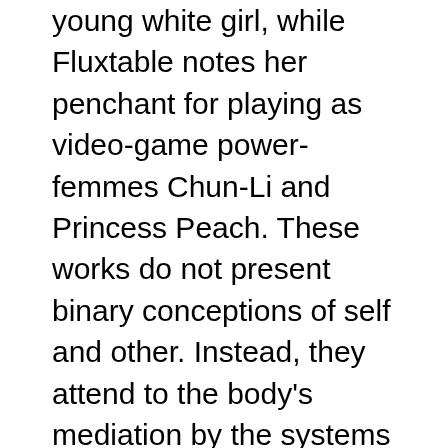young white girl, while Fluxtable notes her penchant for playing as video-game power-femmes Chun-Li and Princess Peach. These works do not present binary conceptions of self and other. Instead, they attend to the body's mediation by the systems we are forced to inhabit by mapping complex landscapes of desire, dismissal and self-determination.
At DePaul, Ayanah Moor's “Good News” appropriates a 1980 issue of Ebony magazine with ads from women seeking men in cities across the United States. Printed in black-and-white on newsprint, Moor sneakily alters the dating summaries to focus on women seeking women. The prints are arranged in a neatly